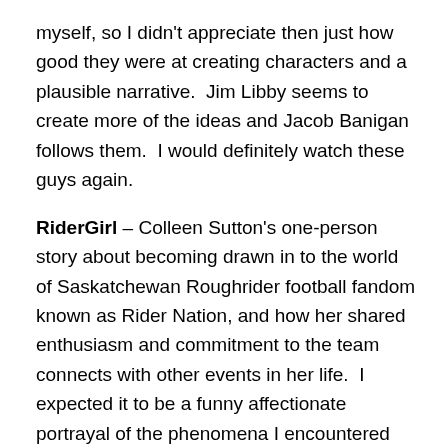myself, so I didn't appreciate then just how good they were at creating characters and a plausible narrative.  Jim Libby seems to create more of the ideas and Jacob Banigan follows them.  I would definitely watch these guys again.
RiderGirl – Colleen Sutton's one-person story about becoming drawn in to the world of Saskatchewan Roughrider football fandom known as Rider Nation, and how her shared enthusiasm and commitment to the team connects with other events in her life.  I expected it to be a funny affectionate portrayal of the phenomena I encountered this summer in Saskatchewan, and it was.  I did not expect it to make me cry, which it did.
Happy Accidents in Something Simple – this was a collection of short pieces by local clown performers.  My favourite was the musical ensemble directed by Scooby